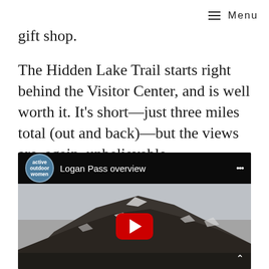≡ Menu
gift shop.
The Hidden Lake Trail starts right behind the Visitor Center, and is well worth it. It's short—just three miles total (out and back)—but the views are, again, unbelievable.
[Figure (screenshot): YouTube video embed showing 'Logan Pass overview' by Active Outdoor Women channel, with a mountain landscape background and a red YouTube play button in the center.]